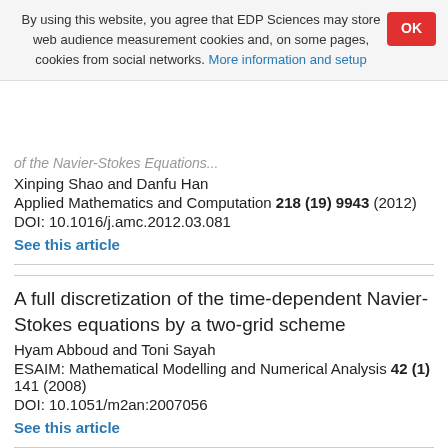By using this website, you agree that EDP Sciences may store web audience measurement cookies and, on some pages, cookies from social networks. More information and setup
OK
Xinping Shao and Danfu Han
Applied Mathematics and Computation 218 (19) 9943 (2012)
DOI: 10.1016/j.amc.2012.03.081
See this article
A full discretization of the time-dependent Navier-Stokes equations by a two-grid scheme
Hyam Abboud and Toni Sayah
ESAIM: Mathematical Modelling and Numerical Analysis 42 (1) 141 (2008)
DOI: 10.1051/m2an:2007056
See this article